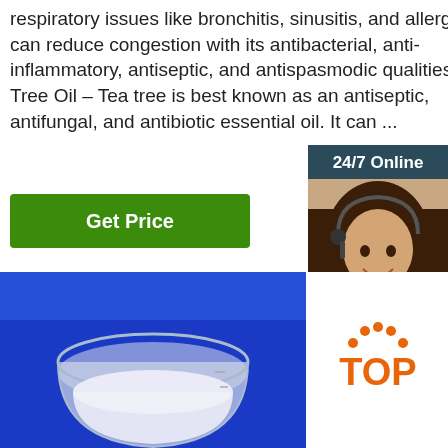respiratory issues like bronchitis, sinusitis, and allergies. It can reduce congestion with its antibacterial, anti-inflammatory, antiseptic, and antispasmodic qualities. Tea Tree Oil – Tea tree is best known as an antiseptic, antifungal, and antibiotic essential oil. It can ...
Get Price
24/7 Online
[Figure (photo): Woman with headset smiling, customer support agent]
Click here for free chat !
QUOTATION
[Figure (photo): Glass beaker with white liquid on a blue surface]
[Figure (logo): TOP badge logo in orange with dots arranged in arc above text]